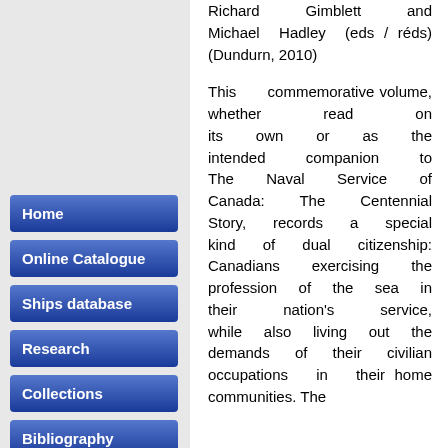Richard Gimblett and Michael Hadley (eds / réds) (Dundurn, 2010)
This commemorative volume, whether read on its own or as the intended companion to The Naval Service of Canada: The Centennial Story, records a special kind of dual citizenship: Canadians exercising the profession of the sea in their nation's service, while also living out the demands of their civilian occupations in their home communities. The
Home
Online Catalogue
Ships database
Research
Collections
Bibliography
Books for sale